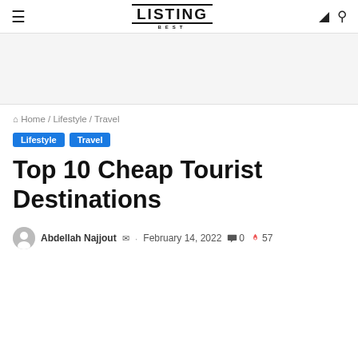LISTING BEST
[Figure (other): Advertisement placeholder area]
Home / Lifestyle / Travel
Lifestyle  Travel
Top 10 Cheap Tourist Destinations
Abdellah Najjout  ·  February 14, 2022  0  57